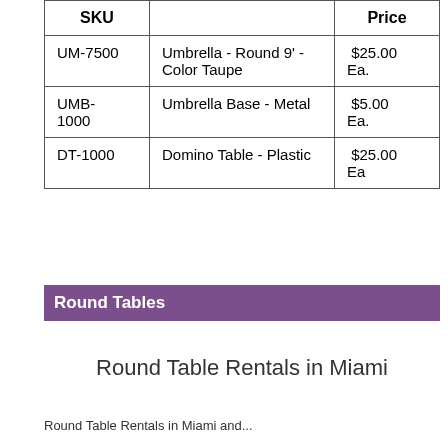| SKU |  | Price |
| --- | --- | --- |
| UM-7500 | Umbrella - Round 9' - Color Taupe | $25.00 Ea. |
| UMB-1000 | Umbrella Base - Metal | $5.00 Ea. |
| DT-1000 | Domino Table - Plastic | $25.00 Ea |
Round Tables
Round Table Rentals in Miami
Round Table Rentals in Miami and...